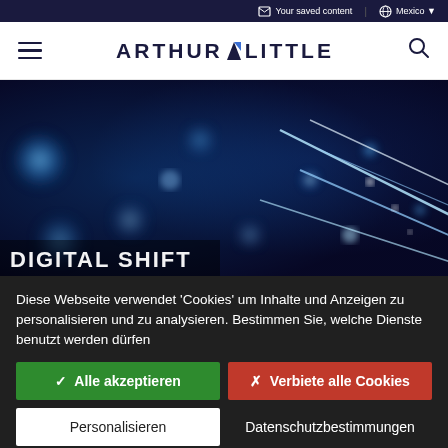Your saved content | Mexico
ARTHUR D LITTLE
[Figure (photo): Close-up photo of fiber optic cables glowing blue against a dark blue background, bokeh light circles visible]
DIGITAL SHIFT
Diese Webseite verwendet 'Cookies' um Inhalte und Anzeigen zu personalisieren und zu analysieren. Bestimmen Sie, welche Dienste benutzt werden dürfen
✓ Alle akzeptieren
✗ Verbiete alle Cookies
Personalisieren
Datenschutzbestimmungen